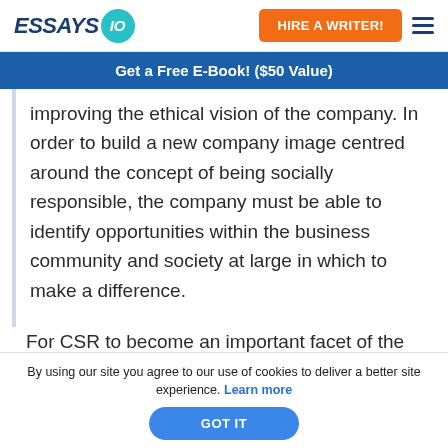ESSAYS IO | HIRE A WRITER!
Get a Free E-Book! ($50 Value)
improving the ethical vision of the company. In order to build a new company image centred around the concept of being socially responsible, the company must be able to identify opportunities within the business community and society at large in which to make a difference.
For CSR to become an important facet of the
By using our site you agree to our use of cookies to deliver a better site experience. Learn more
GOT IT